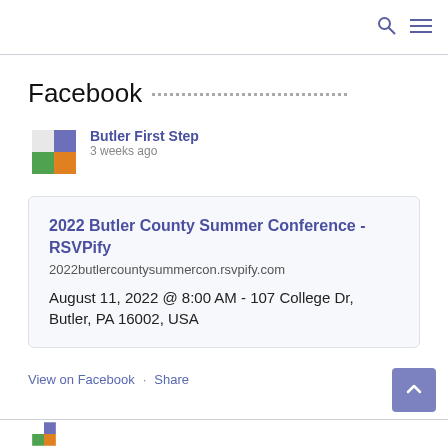Facebook
[Figure (logo): Butler First Step logo: four quadrants — blue top-right, green bottom-left, orange bottom-right, white top-left]
Butler First Step
3 weeks ago
2022 Butler County Summer Conference - RSVPify
2022butlercountysummercon.rsvpify.com
August 11, 2022 @ 8:00 AM - 107 College Dr, Butler, PA 16002, USA
View on Facebook · Share